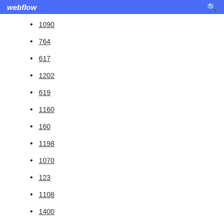webflow
1090
764
617
1202
619
1160
160
1198
1070
123
1108
1400